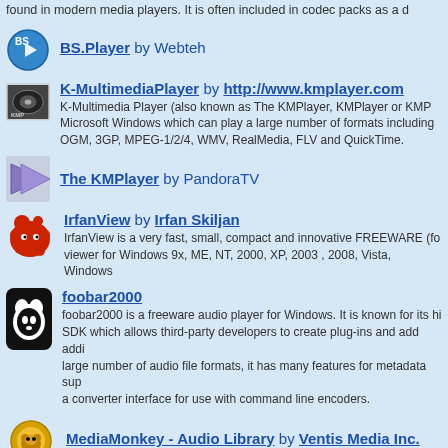found in modern media players. It is often included in codec packs as a d
BS.Player by Webteh
K-MultimediaPlayer by http://www.kmplayer.com — K-Multimedia Player (also known as The KMPlayer, KMPlayer or KMP... Microsoft Windows which can play a large number of formats including OGM, 3GP, MPEG-1/2/4, WMV, RealMedia, FLV and QuickTime.
The KMPlayer by PandoraTV
IrfanView by Irfan Skiljan — IrfanView is a very fast, small, compact and innovative FREEWARE (fo... viewer for Windows 9x, ME, NT, 2000, XP, 2003 , 2008, Vista, Windows
foobar2000 — foobar2000 is a freeware audio player for Windows. It is known for its hi... SDK which allows third-party developers to create plug-ins and add addi... large number of audio file formats, it has many features for metadata sup... a converter interface for use with command line encoders.
MediaMonkey - Audio Library by Ventis Media Inc.
MPC-HC by Media Player Classic - Homecinema
PotPlayer by Kakao